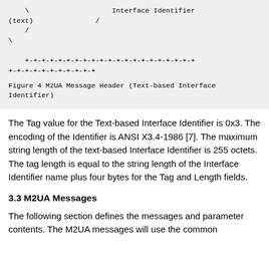[Figure (schematic): ASCII art diagram fragment showing backslash, Interface Identifier text, (text) with slash, slash, backslash, and a row of +-+-+- characters forming a protocol message header box]
Figure 4  M2UA Message Header (Text-based Interface Identifier)
The Tag value for the Text-based Interface Identifier is 0x3. The encoding of the Identifier is ANSI X3.4-1986 [7]. The maximum string length of the text-based Interface Identifier is 255 octets. The tag length is equal to the string length of the Interface Identifier name plus four bytes for the Tag and Length fields.
3.3 M2UA Messages
The following section defines the messages and parameter contents. The M2UA messages will use the common